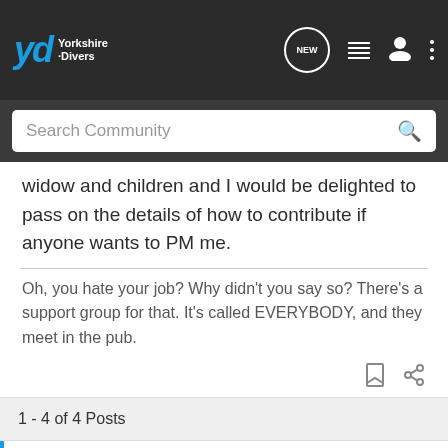Yorkshire Divers
widow and children and I would be delighted to pass on the details of how to contribute if anyone wants to PM me.
Oh, you hate your job? Why didn't you say so? There's a support group for that. It's called EVERYBODY, and they meet in the pub.
1 - 4 of 4 Posts
This is an older thread, you may not receive a response, and could be reviving an old thread. Please consider creating a new thread.